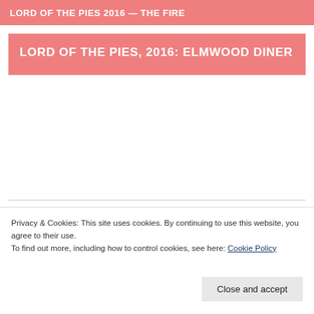LORD OF THE PIES 2016 — THE FIRE
LORD OF THE PIES, 2016: ELMWOOD DINER
Privacy & Cookies: This site uses cookies. By continuing to use this website, you agree to their use.
To find out more, including how to control cookies, see here: Cookie Policy
Close and accept